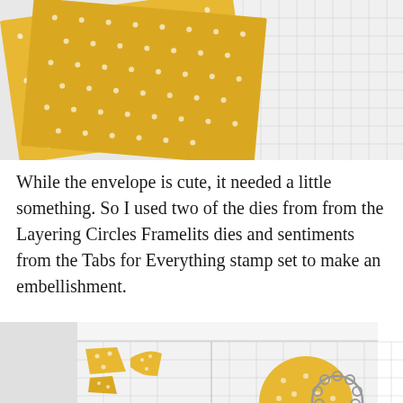[Figure (photo): Yellow polka-dot patterned paper sheets angled on a white grid cutting mat background, photographed from above.]
While the envelope is cute, it needed a little something. So I used two of the dies from from the Layering Circles Framelits dies and sentiments from the Tabs for Everything stamp set to make an embellishment.
[Figure (photo): A white grid cutting mat with yellow polka-dot die-cut circle pieces and a silver scalloped circle die, photographed from above.]